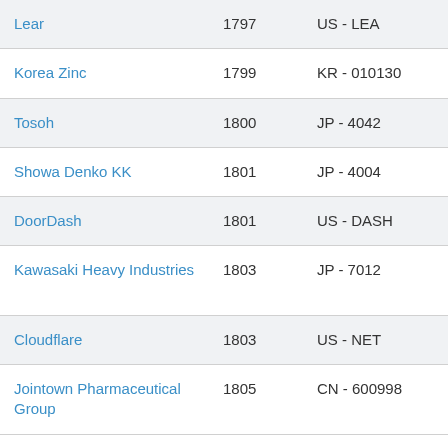| Lear | 1797 | US - LEA | Auto |
| Korea Zinc | 1799 | KR - 010130 | Metall |
| Tosoh | 1800 | JP - 4042 | Chemie |
| Showa Denko KK | 1801 | JP - 4004 | Chemie |
| DoorDash | 1801 | US - DASH | Restaur… |
| Kawasaki Heavy Industries | 1803 | JP - 7012 | Schwere Gerät |
| Cloudflare | 1803 | US - NET | Internet |
| Jointown Pharmaceutical Group | 1805 | CN - 600998 | Pharma… |